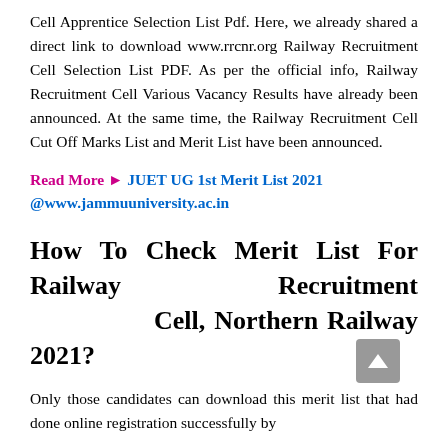Cell Apprentice Selection List Pdf. Here, we already shared a direct link to download www.rrcnr.org Railway Recruitment Cell Selection List PDF. As per the official info, Railway Recruitment Cell Various Vacancy Results have already been announced. At the same time, the Railway Recruitment Cell Cut Off Marks List and Merit List have been announced.
Read More ► JUET UG 1st Merit List 2021 @www.jammuuniversity.ac.in
How To Check Merit List For Railway Recruitment Cell, Northern Railway 2021?
Only those candidates can download this merit list that had done online registration successfully by